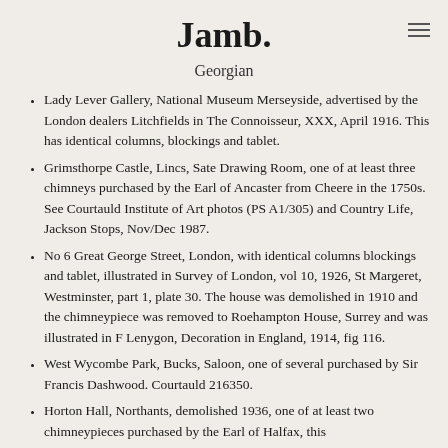Jamb.
Georgian
Lady Lever Gallery, National Museum Merseyside, advertised by the London dealers Litchfields in The Connoisseur, XXX, April 1916. This has identical columns, blockings and tablet.
Grimsthorpe Castle, Lincs, Sate Drawing Room, one of at least three chimneys purchased by the Earl of Ancaster from Cheere in the 1750s. See Courtauld Institute of Art photos (PS A1/305) and Country Life, Jackson Stops, Nov/Dec 1987.
No 6 Great George Street, London, with identical columns blockings and tablet, illustrated in Survey of London, vol 10, 1926, St Margeret, Westminster, part 1, plate 30. The house was demolished in 1910 and the chimneypiece was removed to Roehampton House, Surrey and was illustrated in F Lenygon, Decoration in England, 1914, fig 116.
West Wycombe Park, Bucks, Saloon, one of several purchased by Sir Francis Dashwood. Courtauld 216350.
Horton Hall, Northants, demolished 1936, one of at least two chimneypieces purchased by the Earl of Halfax, this